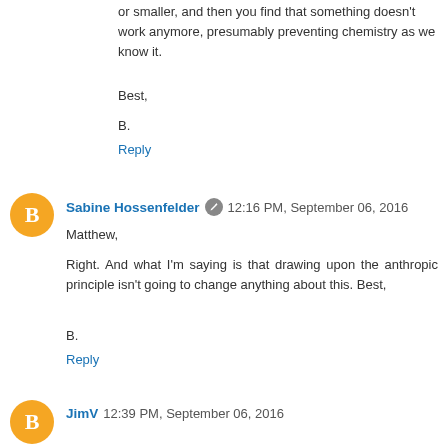or smaller, and then you find that something doesn't work anymore, presumably preventing chemistry as we know it.
Best,
B.
Reply
Sabine Hossenfelder  12:16 PM, September 06, 2016
Matthew,
Right. And what I'm saying is that drawing upon the anthropic principle isn't going to change anything about this. Best,
B.
Reply
JimV  12:39 PM, September 06, 2016